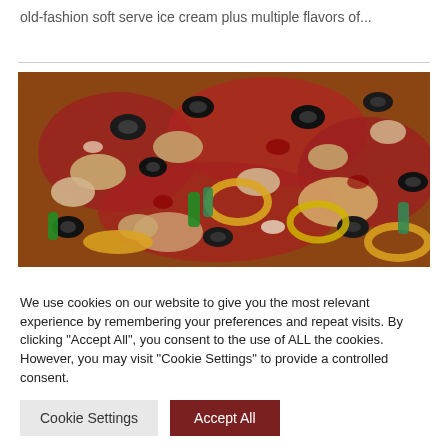old-fashion soft serve ice cream plus multiple flavors of...
[Figure (photo): Close-up photo of a pizza topped with black olives, mushrooms, yellow banana peppers, green peppers, and other toppings on a red sauce base.]
We use cookies on our website to give you the most relevant experience by remembering your preferences and repeat visits. By clicking "Accept All", you consent to the use of ALL the cookies. However, you may visit "Cookie Settings" to provide a controlled consent.